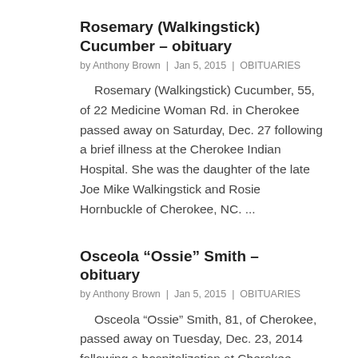Rosemary (Walkingstick) Cucumber – obituary
by Anthony Brown | Jan 5, 2015 | OBITUARIES
Rosemary (Walkingstick) Cucumber, 55, of 22 Medicine Woman Rd. in Cherokee passed away on Saturday, Dec. 27 following a brief illness at the Cherokee Indian Hospital. She was the daughter of the late Joe Mike Walkingstick and Rosie Hornbuckle of Cherokee, NC. ...
Osceola “Ossie” Smith – obituary
by Anthony Brown | Jan 5, 2015 | OBITUARIES
Osceola “Ossie” Smith, 81, of Cherokee, passed away on Tuesday, Dec. 23, 2014 following a hospitalization at Cherokee Hospital. She was the daughter of the late Charles and Elma (Arch) Smith. Ossie was a member of the Yellowhill Baptist